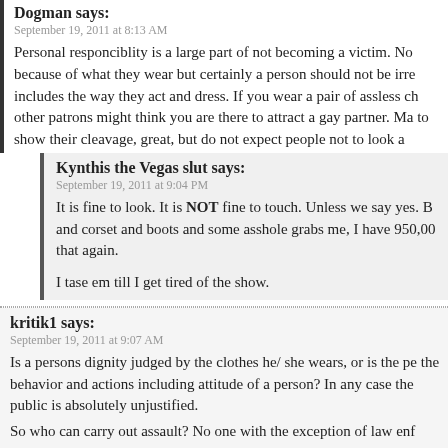Dogman says:
September 19, 2011 at 8:13 AM
Personal responciblity is a large part of not becoming a victim. No because of what they wear but certainly a person should not be irre includes the way they act and dress. If you wear a pair of assless ch other patrons might think you are there to attract a gay partner. Ma to show their cleavage, great, but do not expect people not to look a
Kynthis the Vegas slut says:
September 19, 2011 at 9:04 PM
It is fine to look. It is NOT fine to touch. Unless we say yes. B and corset and boots and some asshole grabs me, I have 950,00 that again.

I tase em till I get tired of the show.
kritik1 says:
September 19, 2011 at 9:07 AM
Is a persons dignity judged by the clothes he/ she wears, or is the pe the behavior and actions including attitude of a person? In any case the public is absolutely unjustified.
So who can carry out assault? No one with the exception of law enf